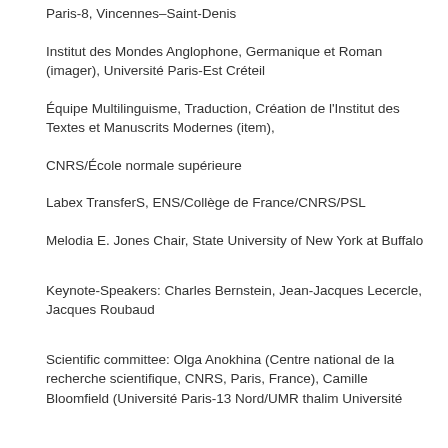Paris-8, Vincennes–Saint-Denis
Institut des Mondes Anglophone, Germanique et Roman (imager), Université Paris-Est Créteil
Équipe Multilinguisme, Traduction, Création de l'Institut des Textes et Manuscrits Modernes (item),
CNRS/École normale supérieure
Labex TransferS, ENS/Collège de France/CNRS/PSL
Melodia E. Jones Chair, State University of New York at Buffalo
Keynote-Speakers: Charles Bernstein, Jean-Jacques Lecercle, Jacques Roubaud
Scientific committee: Olga Anokhina (Centre national de la recherche scientifique, CNRS, Paris, France), Camille Bloomfield (Université Paris-13 Nord/UMR thalim Université